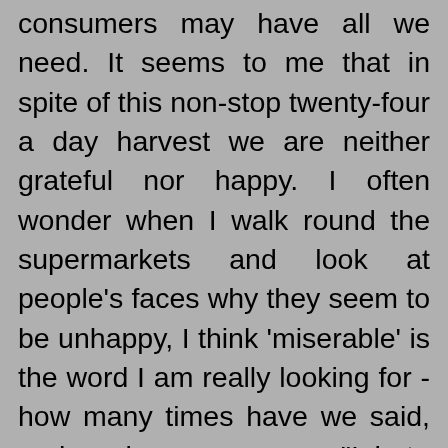consumers may have all we need. It seems to me that in spite of this non-stop twenty-four a day harvest we are neither grateful nor happy. I often wonder when I walk round the supermarkets and look at people's faces why they seem to be unhappy, I think 'miserable' is the word I am really looking for - how many times have we said, or heard someone say "I hate shopping". We need to look at our blessings through fresh eyes. Through the eyes of people new to this country, people who come from places of want, countries that are desperately poor where even clean fresh water for many is unobtainable; when they see what we take for granted, they cannot believe the sheer luxury of it all.